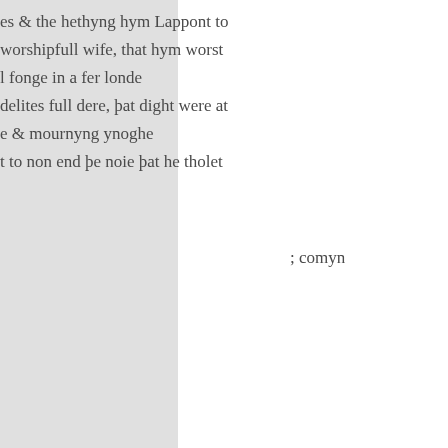es & the hethyng hym Lappont to
worshipfull wife, that hym worst
l fonge in a fer londe
delites full dere, þat dight were at
e & mournyng ynoghe
t to non end þe noie þat he tholet
; comyn